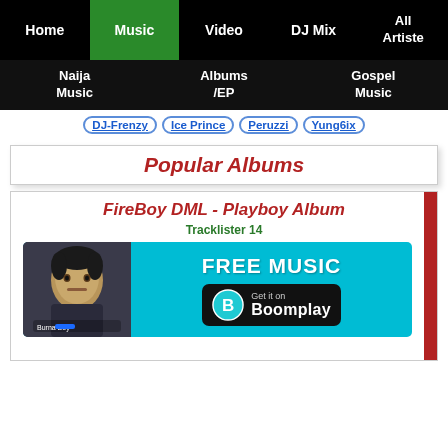Home | Music | Video | DJ Mix | All Artiste
Naija Music | Albums /EP | Gospel Music
DJ-Frenzy | Ice Prince | Peruzzi | Yung6ix
Popular Albums
FireBoy DML - Playboy Album
Tracklister 14
[Figure (screenshot): Boomplay advertisement banner with Burna Boy image, FREE MUSIC text, and Get it on Boomplay button on cyan background]